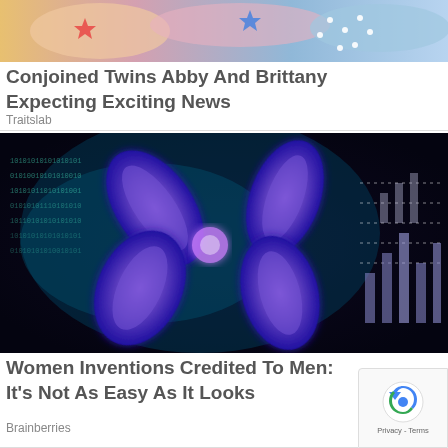[Figure (photo): Top portion of an image showing colorful celebration cakes with star decorations, partially cropped]
Conjoined Twins Abby And Brittany Expecting Exciting News
Traitslab
[Figure (photo): Digital illustration of X chromosome in glowing purple and blue colors against a dark background with binary code and DNA strand motifs]
Women Inventions Credited To Men: It's Not As Easy As It Looks
Brainberries